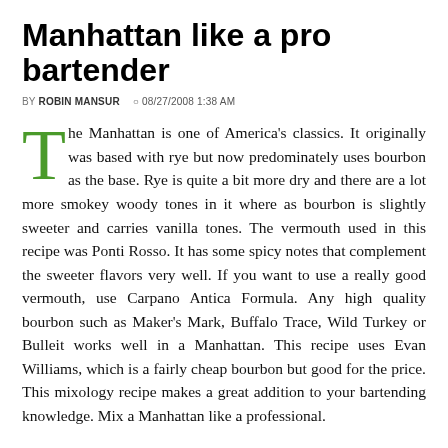Manhattan like a pro bartender
BY ROBIN MANSUR  08/27/2008 1:38 AM
The Manhattan is one of America's classics. It originally was based with rye but now predominately uses bourbon as the base. Rye is quite a bit more dry and there are a lot more smokey woody tones in it where as bourbon is slightly sweeter and carries vanilla tones. The vermouth used in this recipe was Ponti Rosso. It has some spicy notes that complement the sweeter flavors very well. If you want to use a really good vermouth, use Carpano Antica Formula. Any high quality bourbon such as Maker's Mark, Buffalo Trace, Wild Turkey or Bulleit works well in a Manhattan. This recipe uses Evan Williams, which is a fairly cheap bourbon but good for the price. This mixology recipe makes a great addition to your bartending knowledge. Mix a Manhattan like a professional.